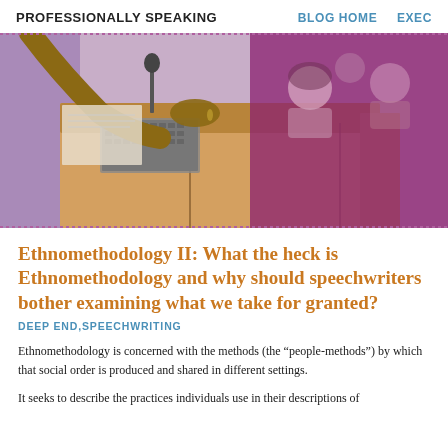PROFESSIONALLY SPEAKING   BLOG HOME   EXEC
[Figure (photo): A person at a wooden lectern/podium with a microphone and keyboard, addressing an audience visible in the background with purple/magenta toned overlay on the right side.]
Ethnomethodology II: What the heck is Ethnomethodology and why should speechwriters bother examining what we take for granted?
DEEP END,SPEECHWRITING
Ethnomethodology is concerned with the methods (the “people-methods”) by which that social order is produced and shared in different settings.
It seeks to describe the practices individuals use in their descriptions of